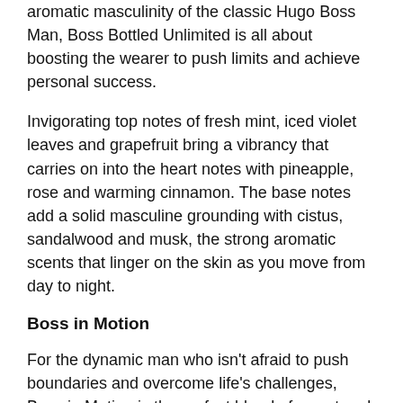aromatic masculinity of the classic Hugo Boss Man, Boss Bottled Unlimited is all about boosting the wearer to push limits and achieve personal success.
Invigorating top notes of fresh mint, iced violet leaves and grapefruit bring a vibrancy that carries on into the heart notes with pineapple, rose and warming cinnamon. The base notes add a solid masculine grounding with cistus, sandalwood and musk, the strong aromatic scents that linger on the skin as you move from day to night.
Boss in Motion
For the dynamic man who isn't afraid to push boundaries and overcome life's challenges, Boss in Motion is the perfect blend of sweet and spicy, giving the wearer quiet confidence.
Fresh and bright top notes of bergamot and violet leaves start with energy before herbal basil grounds the scent. Heart notes of pink pepper, cinnamon, cardamom and nutmeg add a spicy